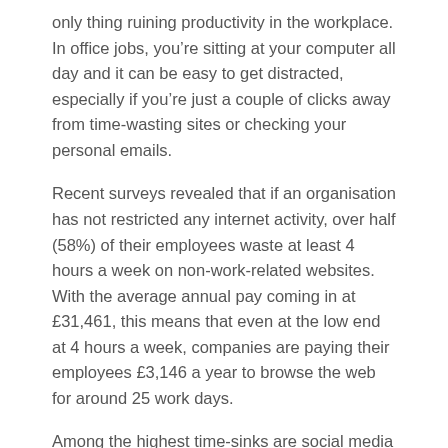only thing ruining productivity in the workplace. In office jobs, you’re sitting at your computer all day and it can be easy to get distracted, especially if you’re just a couple of clicks away from time-wasting sites or checking your personal emails.
Recent surveys revealed that if an organisation has not restricted any internet activity, over half (58%) of their employees waste at least 4 hours a week on non-work-related websites. With the average annual pay coming in at £31,461, this means that even at the low end at 4 hours a week, companies are paying their employees £3,146 a year to browse the web for around 25 work days.
Among the highest time-sinks are social media sites. YouTube is the main culprit, with Facebook not far behind. Other sites such as Reddit, Instagram, Twitter and Snapchat also take a large slice of the main productivity killers. The same surveys also